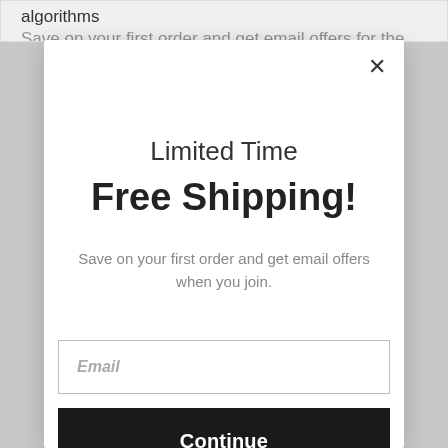algorithms
Limited Time
Free Shipping!
Save on your first order and get email offers when you join.
Email
Continue